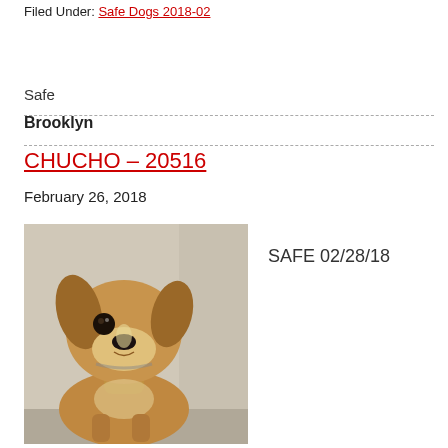Filed Under: Safe Dogs 2018-02
Safe
Brooklyn
CHUCHO – 20516
February 26, 2018
[Figure (photo): A beagle-mix dog looking at the camera, brown and tan coloring, in what appears to be a shelter setting]
SAFE 02/28/18